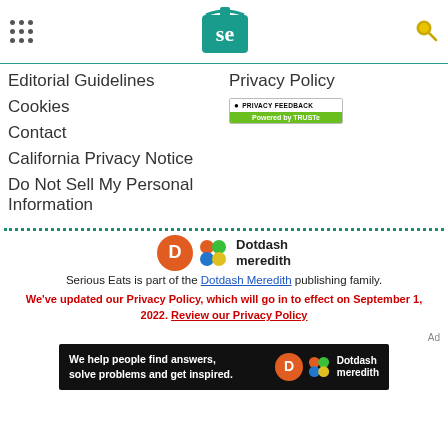Serious Eats header with navigation dots, SE logo, and search icon
Editorial Guidelines
Privacy Policy
Cookies
[Figure (logo): Privacy Feedback - Powered by TRUSTe badge]
Contact
California Privacy Notice
Do Not Sell My Personal Information
[Figure (logo): Dotdash Meredith logo]
Serious Eats is part of the Dotdash Meredith publishing family.
We've updated our Privacy Policy, which will go in to effect on September 1, 2022. Review our Privacy Policy
[Figure (other): Dotdash Meredith ad banner: We help people find answers, solve problems and get inspired.]